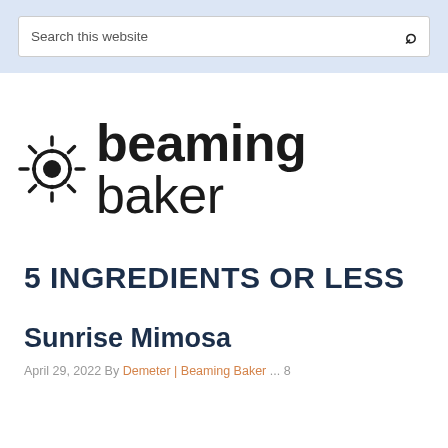Search this website
[Figure (logo): Beaming Baker logo — sun/gear icon followed by 'beaming' in bold black and 'baker' in light weight black]
5 INGREDIENTS OR LESS
Sunrise Mimosa
April 29, 2022 By Demeter | Beaming Baker ... 8